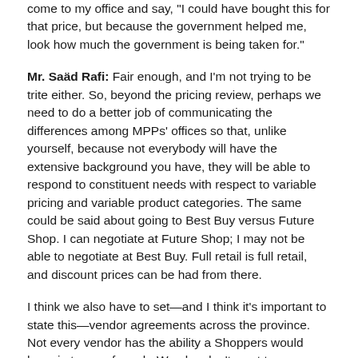come to my office and say, 'I could have bought this for that price, but because the government helped me, look how much the government is being taken for.'
Mr. Saäd Rafi: Fair enough, and I'm not trying to be trite either. So, beyond the pricing review, perhaps we need to do a better job of communicating the differences among MPPs' offices so that, unlike yourself, because not everybody will have the extensive background you have, they will be able to respond to constituent needs with respect to variable pricing and variable product categories. The same could be said about going to Best Buy versus Future Shop. I can negotiate at Future Shop; I may not be able to negotiate at Best Buy. Full retail is full retail, and discount prices can be had from there.
I think we also have to set—and I think it's important to state this—vendor agreements across the province. Not every vendor has the ability a Shoppers would have in terms of reach. We also don't want to disadvantage clients